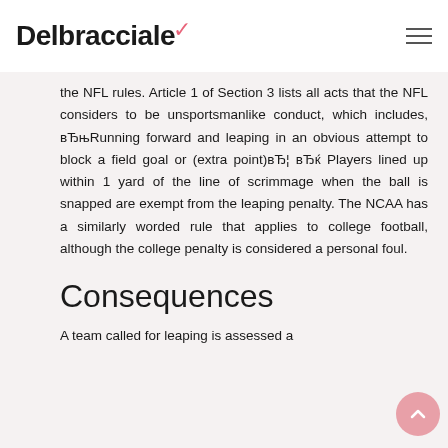Delbracciale
the NFL rules. Article 1 of Section 3 lists all acts that the NFL considers to be unsportsmanlike conduct, which includes, вЂњRunning forward and leaping in an obvious attempt to block a field goal or (extra point)вЂ¦ вЂќ Players lined up within 1 yard of the line of scrimmage when the ball is snapped are exempt from the leaping penalty. The NCAA has a similarly worded rule that applies to college football, although the college penalty is considered a personal foul.
Consequences
A team called for leaping is assessed a